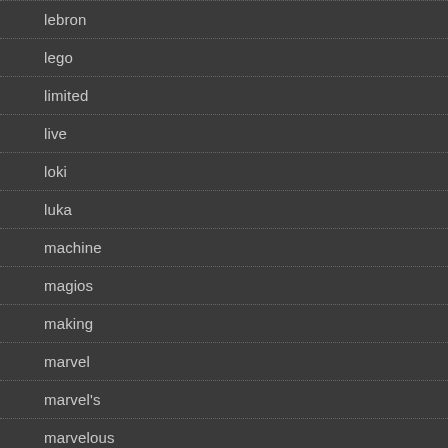lebron
lego
limited
live
loki
luka
machine
magios
making
marvel
marvel's
marvelous
marvelx-men'dark
massive